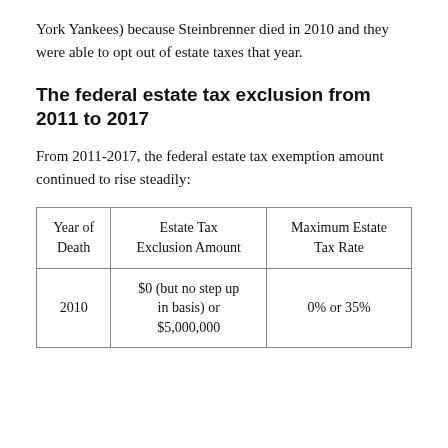York Yankees) because Steinbrenner died in 2010 and they were able to opt out of estate taxes that year.
The federal estate tax exclusion from 2011 to 2017
From 2011-2017, the federal estate tax exemption amount continued to rise steadily:
| Year of Death | Estate Tax Exclusion Amount | Maximum Estate Tax Rate |
| --- | --- | --- |
| 2010 | $0 (but no step up in basis) or $5,000,000 | 0% or 35% |